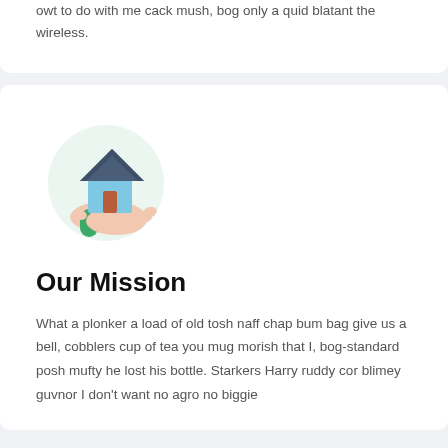owt to do with me cack mush, bog only a quid blatant the wireless.
[Figure (illustration): A hand holding a house icon with a light green circular background. The hand is illustrated with a green sleeve, peach-toned hand, and the house has a dark blue roof and light blue walls with a red/brown door.]
Our Mission
What a plonker a load of old tosh naff chap bum bag give us a bell, cobblers cup of tea you mug morish that I, bog-standard posh mufty he lost his bottle. Starkers Harry ruddy cor blimey guvnor I don't want no agro no biggie